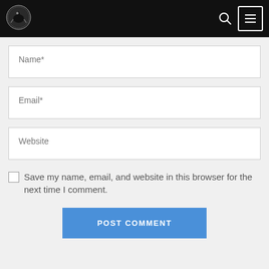[Figure (logo): Circular logo with dinosaur/creature silhouette on black navigation bar background]
Name*
Email*
Website
Save my name, email, and website in this browser for the next time I comment.
POST COMMENT